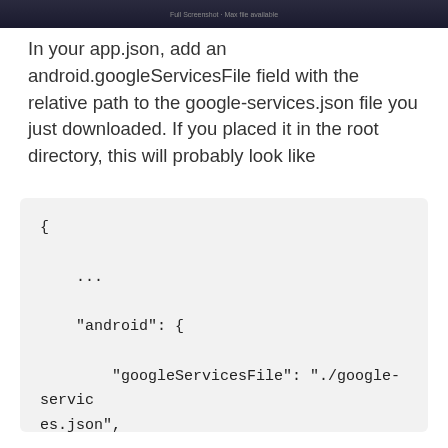[Figure (screenshot): Screenshot of a dark IDE or browser window header bar]
In your app.json, add an android.googleServicesFile field with the relative path to the google-services.json file you just downloaded. If you placed it in the root directory, this will probably look like
{

    ...

    "android": {

        "googleServicesFile": "./google-services.json",

        ...

    }

}